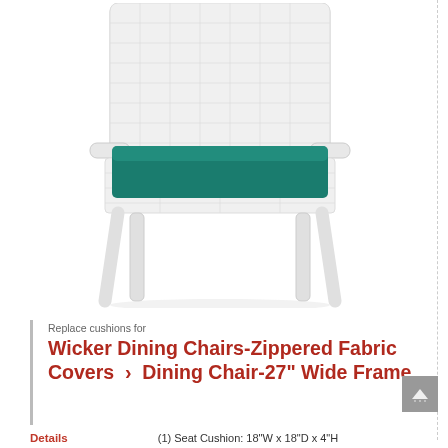[Figure (photo): White wicker dining chair with teal/green seat cushion, photographed against white background. The chair has woven wicker construction, armrests, and angled legs.]
Replace cushions for
Wicker Dining Chairs-Zippered Fabric Covers › Dining Chair-27" Wide Frame
Details    (1) Seat Cushion: 18"W x 18"D x 4"H